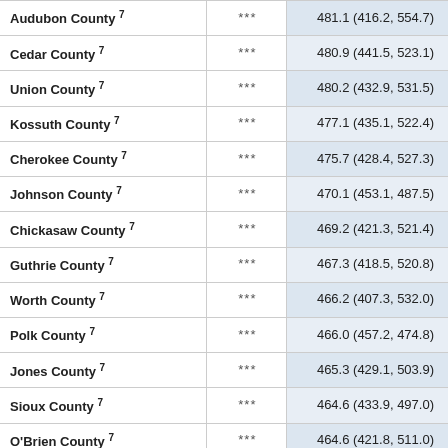| County |  | Value (CI) |
| --- | --- | --- |
| Audubon County 7 | *** | 481.1 (416.2, 554.7) |
| Cedar County 7 | *** | 480.9 (441.5, 523.1) |
| Union County 7 | *** | 480.2 (432.9, 531.5) |
| Kossuth County 7 | *** | 477.1 (435.1, 522.4) |
| Cherokee County 7 | *** | 475.7 (428.4, 527.3) |
| Johnson County 7 | *** | 470.1 (453.1, 487.5) |
| Chickasaw County 7 | *** | 469.2 (421.3, 521.4) |
| Guthrie County 7 | *** | 467.3 (418.5, 520.8) |
| Worth County 7 | *** | 466.2 (407.3, 532.0) |
| Polk County 7 | *** | 466.0 (457.2, 474.8) |
| Jones County 7 | *** | 465.3 (429.1, 503.9) |
| Sioux County 7 | *** | 464.6 (433.9, 497.0) |
| O'Brien County 7 | *** | 464.6 (421.8, 511.0) |
| Fayette County 7 | *** | 462.8 (426.4, 501.7) |
| Wayne County 7 | *** | 462.4 (399.8, 533.0) |
| Madison County 7 | *** | 462.3 (420.5, 507.5) |